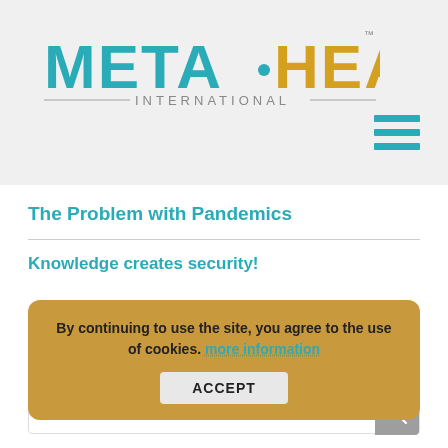[Figure (logo): META·HEALTH INTERNATIONAL logo with cyan/blue 'META' text, yellow/gold 'HEALTH' text, and gray 'INTERNATIONAL' subtitle with decorative lines]
The Problem with Pandemics
Knowledge creates security!
By continuing to use the site, you agree to the use of cookies. more information
ACCEPT